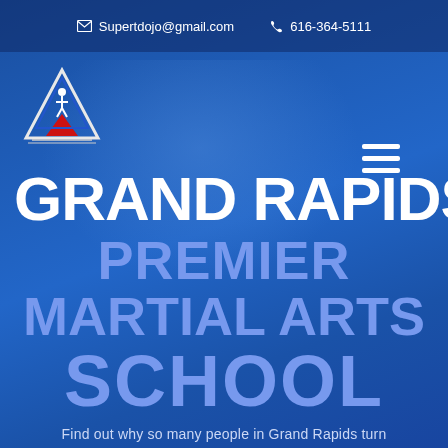✉ Supertdojo@gmail.com   📞 616-364-5111
[Figure (logo): Super T System martial arts school logo — triangle shape with figure inside, red and blue accents]
GRAND RAPIDS PREMIER MARTIAL ARTS SCHOOL
Find out why so many people in Grand Rapids turn